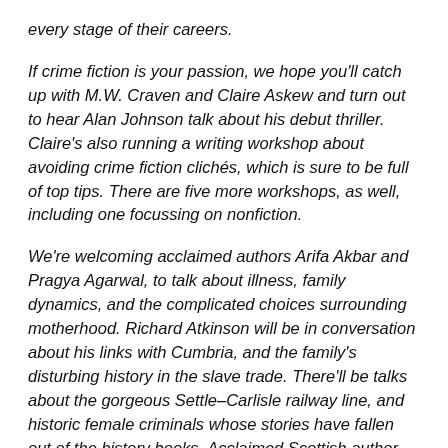every stage of their careers.
If crime fiction is your passion, we hope you'll catch up with M.W. Craven and Claire Askew and turn out to hear Alan Johnson talk about his debut thriller. Claire's also running a writing workshop about avoiding crime fiction clichés, which is sure to be full of top tips. There are five more workshops, as well, including one focussing on nonfiction.
We're welcoming acclaimed authors Arifa Akbar and Pragya Agarwal, to talk about illness, family dynamics, and the complicated choices surrounding motherhood. Richard Atkinson will be in conversation about his links with Cumbria, and the family's disturbing history in the slave trade. There'll be talks about the gorgeous Settle–Carlisle railway line, and historic female criminals whose stories have fallen out of the history books. Acclaimed Scottish author Jim Crumley will be discussing his first book about the Lake District — which takes a surprisingly fresh